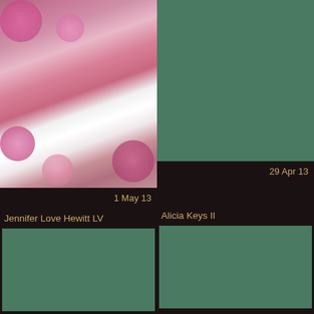[Figure (photo): Woman in white strapless gown against pink rose background]
[Figure (photo): Teal/green placeholder image - top right]
1 May 13
29 Apr 13
Jennifer Love Hewitt LV
Alicia Keys II
[Figure (photo): Teal/green placeholder image - bottom left]
[Figure (photo): Teal/green placeholder image - bottom right]